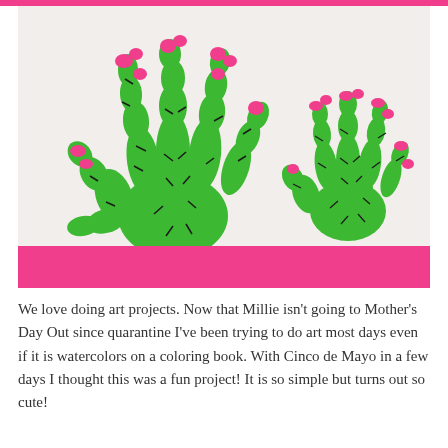[Figure (photo): Two green handprint cactus paintings on white paper. The hands are painted green and decorated with small pink flowers and black cactus spines, creating cactus shapes. One larger handprint on the left and one smaller on the right.]
We love doing art projects. Now that Millie isn't going to Mother's Day Out since quarantine I've been trying to do art most days even if it is watercolors on a coloring book. With Cinco de Mayo in a few days I thought this was a fun project! It is so simple but turns out so cute!